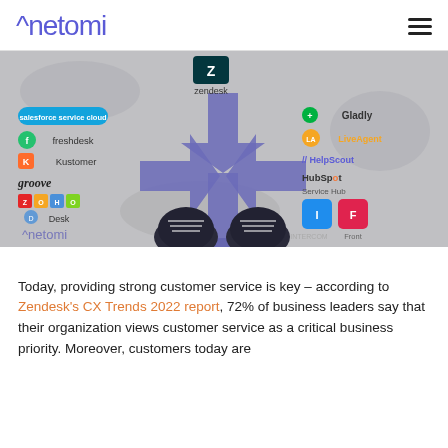^netomi
[Figure (illustration): Hero image showing various customer service platform logos (Zendesk, Salesforce Service Cloud, Freshdesk, Kustomer, Groove, Zoho Desk, Gladly, LiveAgent, HelpScout, HubSpot Service Hub, Intercom, Front) arranged around a blue directional arrow sign, with a person's sneakers visible at the bottom, and the Netomi logo watermarked in the lower left.]
Today, providing strong customer service is key – according to Zendesk's CX Trends 2022 report, 72% of business leaders say that their organization views customer service as a critical business priority. Moreover, customers today are